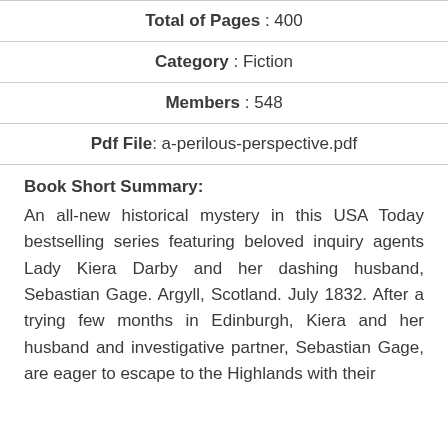Total of Pages : 400
Category : Fiction
Members : 548
Pdf File: a-perilous-perspective.pdf
Book Short Summary:
An all-new historical mystery in this USA Today bestselling series featuring beloved inquiry agents Lady Kiera Darby and her dashing husband, Sebastian Gage. Argyll, Scotland. July 1832. After a trying few months in Edinburgh, Kiera and her husband and investigative partner, Sebastian Gage, are eager to escape to the Highlands with their